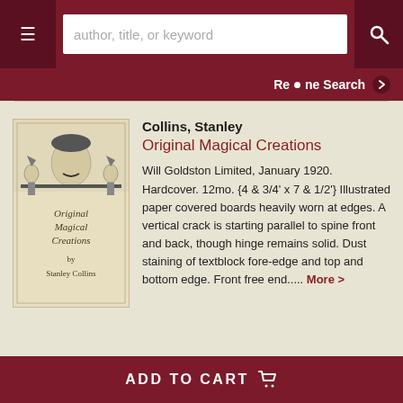author, title, or keyword
Refine Search
[Figure (illustration): Book cover of 'Original Magical Creations by Stanley Collins' showing a man's head with a mustache flanked by two elf/jester figures holding a horizontal bar.]
Collins, Stanley
Original Magical Creations
Will Goldston Limited, January 1920. Hardcover. 12mo. {4 & 3/4' x 7 & 1/2'} Illustrated paper covered boards heavily worn at edges. A vertical crack is starting parallel to spine front and back, though hinge remains solid. Dust staining of textblock fore-edge and top and bottom edge. Front free end..... More >
ADD TO CART